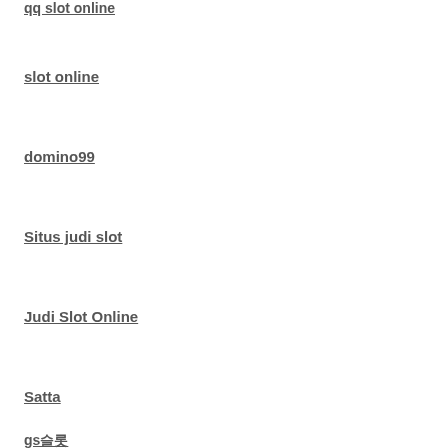qq slot online
slot online
domino99
Situs judi slot
Judi Slot Online
Satta
gs슬롯